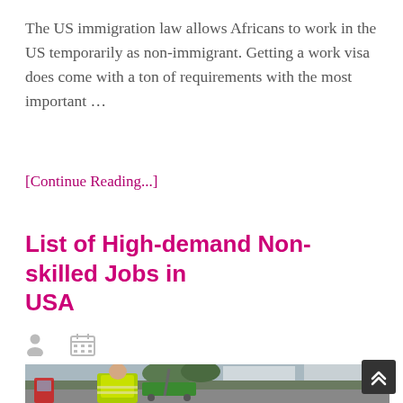The US immigration law allows Africans to work in the US temporarily as non-immigrant. Getting a work visa does come with a ton of requirements with the most important …
[Continue Reading...]
List of High-demand Non-skilled Jobs in USA
[Figure (photo): A man in a yellow high-visibility jacket with reflective strips standing on a street next to cleaning equipment (green cart), with a city street scene in the background including shops and trees.]